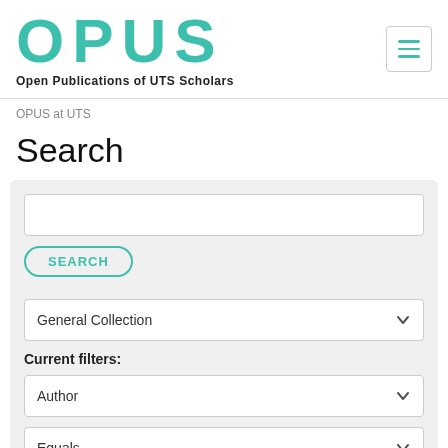[Figure (logo): OPUS - Open Publications of UTS Scholars logo with teal/green text]
OPUS at UTS
Search
SEARCH button
General Collection dropdown
Current filters:
Author dropdown
Equals dropdown
Petocz, P